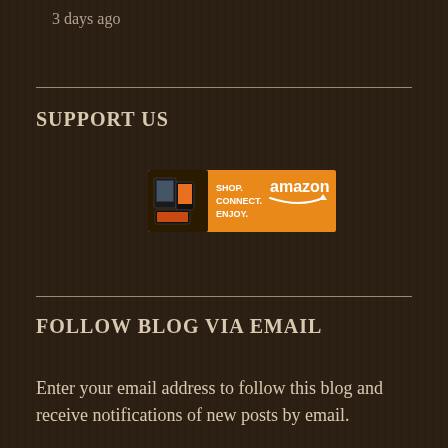3 days ago
SUPPORT US
[Figure (other): Amazon advertisement banner: orange background with tablet/kindle devices on left, text reading SHOP. CONNECT. ENJOY. and amazon logo with smile on right]
FOLLOW BLOG VIA EMAIL
Enter your email address to follow this blog and receive notifications of new posts by email.